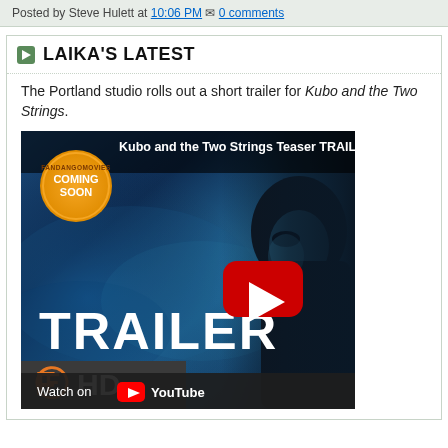Posted by Steve Hulett at 10:06 PM  0 comments
LAIKA'S LATEST
The Portland studio rolls out a short trailer for Kubo and the Two Strings.
[Figure (screenshot): YouTube embedded video thumbnail for 'Kubo and the Two Strings Teaser TRAILER 1' showing an animated character against a dark blue background with TRAILER text overlay, Coming Soon badge, YouTube play button, Fandango HD logo, and Watch on YouTube bar at bottom.]